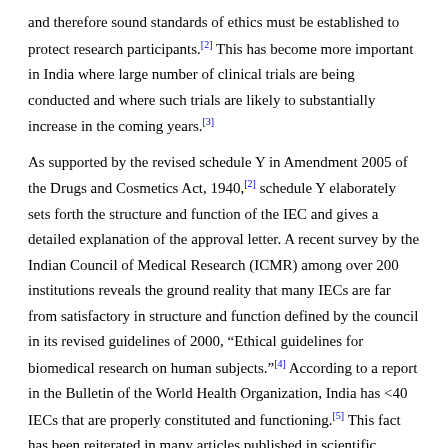and therefore sound standards of ethics must be established to protect research participants.[2] This has become more important in India where large number of clinical trials are being conducted and where such trials are likely to substantially increase in the coming years.[3]
As supported by the revised schedule Y in Amendment 2005 of the Drugs and Cosmetics Act, 1940,[2] schedule Y elaborately sets forth the structure and function of the IEC and gives a detailed explanation of the approval letter. A recent survey by the Indian Council of Medical Research (ICMR) among over 200 institutions reveals the ground reality that many IECs are far from satisfactory in structure and function defined by the council in its revised guidelines of 2000, "Ethical guidelines for biomedical research on human subjects."[4] According to a report in the Bulletin of the World Health Organization, India has <40 IECs that are properly constituted and functioning.[5] This fact has been reiterated in many articles published in scientific journals.[6],[7] Although guidelines pertaining to the structure and functioning of IECs were laid down on paper in 1980, they have not been implemented satisfactorily because they are not backed by the strength of legal protection. Thus, there are a number